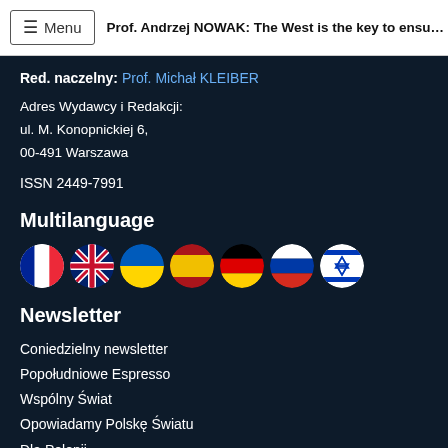≡ Menu | Prof. Andrzej NOWAK: The West is the key to ensuri...
Red. naczelny: Prof. Michał KLEIBER
Adres Wydawcy i Redakcji:
ul. M. Konopnickiej 6,
00-491 Warszawa
ISSN 2449-7991
Multilanguage
[Figure (illustration): Row of circular flag icons: France, United Kingdom, Ukraine, Spain, Germany, Russia, Israel]
Newsletter
Coniedzielny newsletter
Popołudniowe Espresso
Wspólny Świat
Opowiadamy Polskę Światu
Dla Polonii